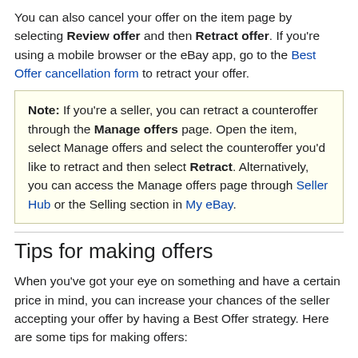You can also cancel your offer on the item page by selecting Review offer and then Retract offer. If you're using a mobile browser or the eBay app, go to the Best Offer cancellation form to retract your offer.
Note: If you're a seller, you can retract a counteroffer through the Manage offers page. Open the item, select Manage offers and select the counteroffer you'd like to retract and then select Retract. Alternatively, you can access the Manage offers page through Seller Hub or the Selling section in My eBay.
Tips for making offers
When you've got your eye on something and have a certain price in mind, you can increase your chances of the seller accepting your offer by having a Best Offer strategy. Here are some tips for making offers:
Be reasonable: Sellers who accept offers are flexible on price and generally take fair offers seriously
Add a message for the seller: A friendly, personal message could help you get the item at the price you